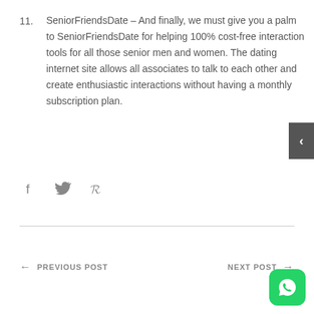11. SeniorFriendsDate – And finally, we must give you a palm to SeniorFriendsDate for helping 100% cost-free interaction tools for all those senior men and women. The dating internet site allows all associates to talk to each other and create enthusiastic interactions without having a monthly subscription plan.
[Figure (other): Dark grey sidebar tab with a left-pointing chevron arrow]
[Figure (other): Social share icons: Facebook (f), Twitter bird, Pinterest (p)]
PREVIOUS POST
NEXT POST
[Figure (other): WhatsApp green rounded square icon button]